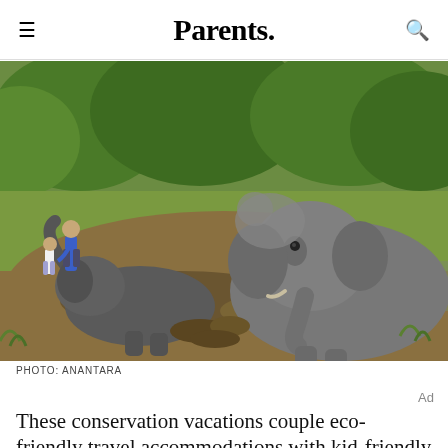Parents.
[Figure (photo): Two elephants in a muddy river/stream area with lush green vegetation in background. A baby elephant lies in the mud with its trunk raised, while a larger elephant is beside it. In the background, an adult and a child observe the elephants.]
PHOTO: ANANTARA
Ad
These conservation vacations couple eco-friendly travel accommodations with kid-friendly